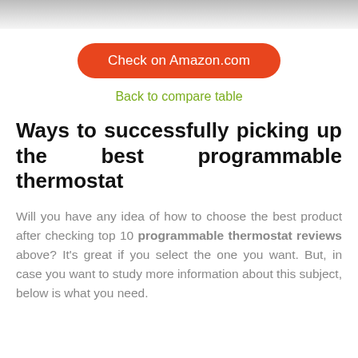[Figure (photo): Top portion of a product photo (thermostat or related device), cropped at the top of the page]
Check on Amazon.com
Back to compare table
Ways to successfully picking up the best programmable thermostat
Will you have any idea of how to choose the best product after checking top 10 programmable thermostat reviews above? It's great if you select the one you want. But, in case you want to study more information about this subject, below is what you need.